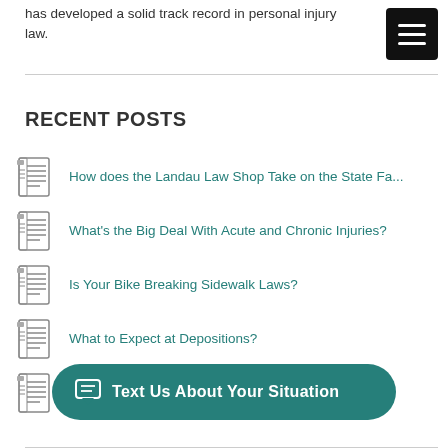has developed a solid track record in personal injury law.
[Figure (screenshot): Black hamburger menu button with three white horizontal lines]
RECENT POSTS
How does the Landau Law Shop Take on the State Fa...
What's the Big Deal With Acute and Chronic Injuries?
Is Your Bike Breaking Sidewalk Laws?
What to Expect at Depositions?
Bicycle Helmet Distribution Event at Abrams Landau
Text Us About Your Situation